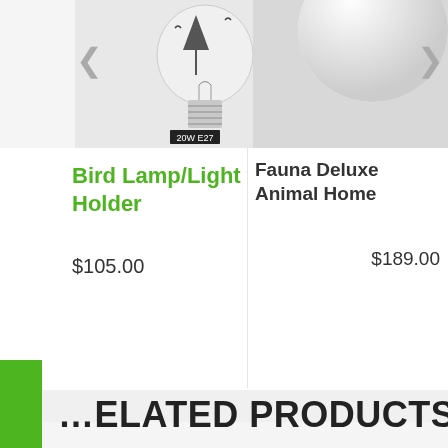[Figure (photo): Two light bulbs - a 20W E27 bird lamp and a globe-style bulb on grey background]
Bird Lamp/Light with Dome Holder
$105.00
[Figure (photo): Partial view of a white light bulb on grey background]
Fauna Deluxe Animal Home
$189.00
NOTIFY ME WHEN AVAILABLE
RELATED PRODUCTS
[Figure (photo): Product card with heart/wishlist icon]